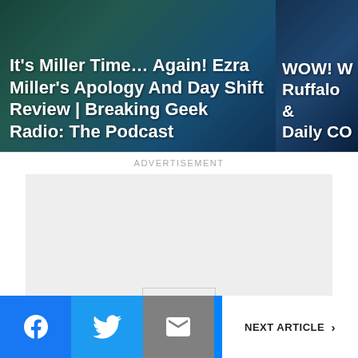[Figure (screenshot): Top banner showing two article thumbnails side by side. Left thumbnail shows text: "It's Miller Time... Again! Ezra Miller's Apology And Day Shift Review | Breaking Geek Radio: The Podcast" on a dark teal/blue background. Right thumbnail is partially cropped showing text: "WOW! W... Ruffalo &... Daily CO..."]
ADVERTISEMENT
[Figure (other): Advertisement placeholder box (light grey rectangle) with small 'Ad' label in center]
NEXT ARTICLE >